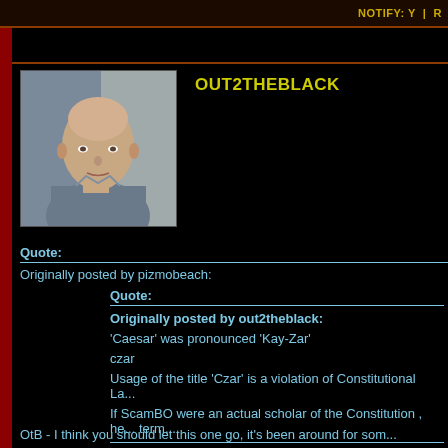NOTIFY: Y  |  R
[Figure (photo): Profile photo of an older bald man in a blue-grey shirt]
OUT2THEBLACK
Quote:
Originally posted by pizmobeach:
Quote:
Originally posted by out2theblack:
'Caesar' was pronounced 'Kay-Zar'
czar
Usage of the title 'Czar' is a violation of Constitutional La...
If ScamBO were an actual scholar of the Constitution , he... term...
OtB - I think you should let this one go, it's been around for som...